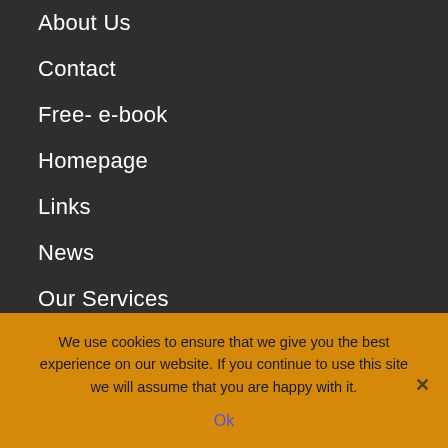About Us
Contact
Free- e-book
Homepage
Links
News
Our Services
AREAS COVERED INCLUDE
Cheltenham, Gloucester, Ross on Wye, Herefordshire
We use cookies to ensure that we give you the best experience on our website. If you continue to use this site we will assume that you are happy with it.
Ok